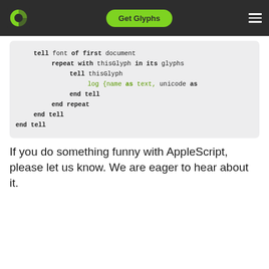Get Glyphs
[Figure (screenshot): Code block showing AppleScript snippet with keywords in bold and green colored text for log statement]
If you do something funny with AppleScript, please let us know. We are eager to hear about it.